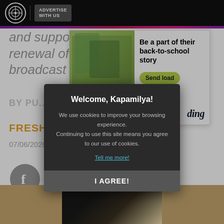ABS-CBN News | Advertise With Us
and support for the renewal of ABS-CBN's broadcast franchise.
BY PU...
FRESHSTART
07/06/2020 08:57 PM
[Figure (screenshot): Advertisement banner for Ding showing two school girls looking at a phone with text 'Be a part of their back-to-school story' and a 'Send load' button]
[Figure (screenshot): Cookie consent modal on dark background saying 'Welcome, Kapamilya!' with message about cookies and I AGREE button]
[Figure (photo): Partial photo of a person with blonde hair at bottom of page]